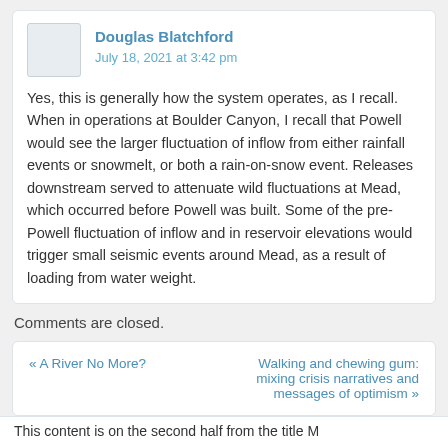Douglas Blatchford
July 18, 2021 at 3:42 pm
Yes, this is generally how the system operates, as I recall. When in operations at Boulder Canyon, I recall that Powell would see the larger fluctuation of inflow from either rainfall events or snowmelt, or both a rain-on-snow event. Releases downstream served to attenuate wild fluctuations at Mead, which occurred before Powell was built. Some of the pre-Powell fluctuation of inflow and in reservoir elevations would trigger small seismic events around Mead, as a result of loading from water weight.
Comments are closed.
« A River No More?
Walking and chewing gum: mixing crisis narratives and messages of optimism »
This content is on the second half from the title M